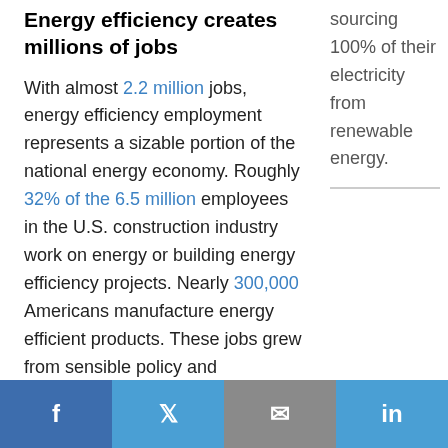Energy efficiency creates millions of jobs
sourcing 100% of their electricity from renewable energy.
With almost 2.2 million jobs, energy efficiency employment represents a sizable portion of the national energy economy. Roughly 32% of the 6.5 million employees in the U.S. construction industry work on energy or building energy efficiency projects. Nearly 300,000 Americans manufacture energy efficient products. These jobs grew from sensible policy and regulations,
Facebook | Twitter | Email | LinkedIn